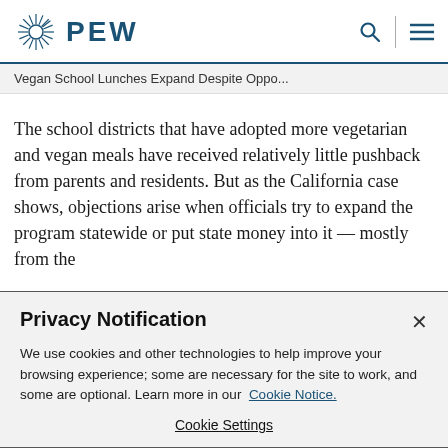PEW
Vegan School Lunches Expand Despite Oppo...
The school districts that have adopted more vegetarian and vegan meals have received relatively little pushback from parents and residents. But as the California case shows, objections arise when officials try to expand the program statewide or put state money into it — mostly from the
Privacy Notification
We use cookies and other technologies to help improve your browsing experience; some are necessary for the site to work, and some are optional. Learn more in our Cookie Notice.
Cookie Settings